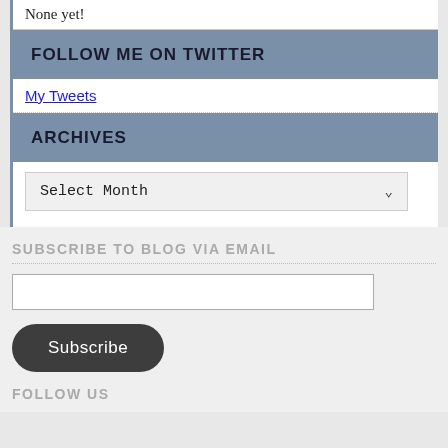None yet!
FOLLOW ME ON TWITTER
My Tweets
ARCHIVES
Select Month
SUBSCRIBE TO BLOG VIA EMAIL
Subscribe
FOLLOW US